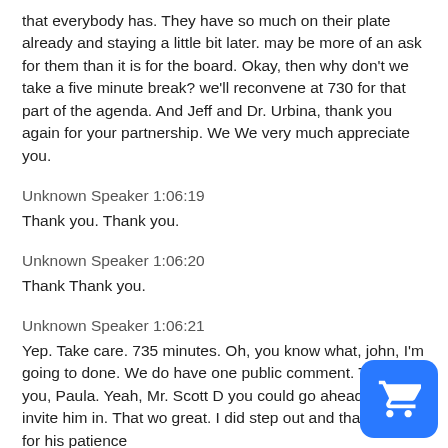that everybody has. They have so much on their plate already and staying a little bit later. may be more of an ask for them than it is for the board. Okay, then why don't we take a five minute break? we'll reconvene at 730 for that part of the agenda. And Jeff and Dr. Urbina, thank you again for your partnership. We We very much appreciate you.
Unknown Speaker 1:06:19
Thank you. Thank you.
Unknown Speaker 1:06:20
Thank Thank you.
Unknown Speaker 1:06:21
Yep. Take care. 735 minutes. Oh, you know what, john, I'm going to done. We do have one public comment. Thank you, Paula. Yeah, Mr. Scott D you could go ahead and invite him in. That wo great. I did step out and thank him for his patience